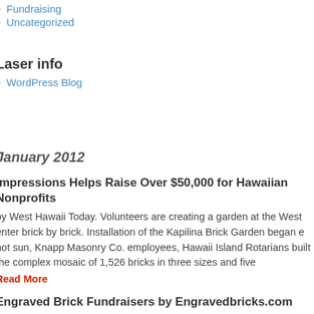Fundraising
Uncategorized
Laser info
WordPress Blog
January 2012
Impressions Helps Raise Over $50,000 for Hawaiian Nonprofits
by West Hawaii Today. Volunteers are creating a garden at the West enter brick by brick. Installation of the Kapilina Brick Garden began e hot sun, Knapp Masonry Co. employees, Hawaii Island Rotarians built the complex mosaic of 1,526 bricks in three sizes and five
Read More
Engraved Brick Fundraisers by Engravedbricks.com
ried silent auctions and candy fundraisers with meager results. It f you're doing fundraising for a school, church or even a stadium ndraising results lead to unfinished goals. If you're searching for thods that will work and you're ready to start bringing in the s to complete… Read More
Brick Fundraiser with Laser Engraved Bricks